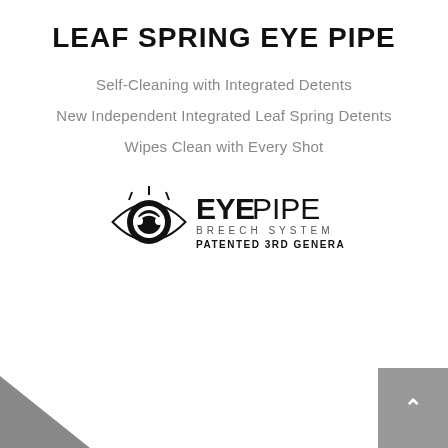LEAF SPRING EYE PIPE
Self-Cleaning with Integrated Detents
New Independent Integrated Leaf Spring Detents
Wipes Clean with Every Shot
[Figure (logo): EYE PIPE Breech System Patented 3rd Generation logo — stylized eye graphic with concentric circles and the text 'EYEPIPE BREECH SYSTEM PATENTED 3RD GENERATION']